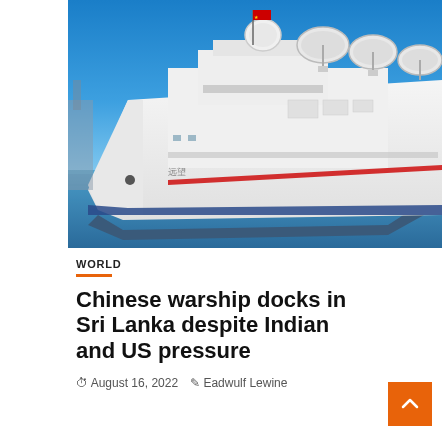[Figure (photo): A large white Chinese research/spy vessel with multiple large satellite dish arrays on its deck and superstructure, photographed in port against a clear blue sky with calm blue water in the foreground.]
WORLD
Chinese warship docks in Sri Lanka despite Indian and US pressure
August 16, 2022   Eadwulf Lewine